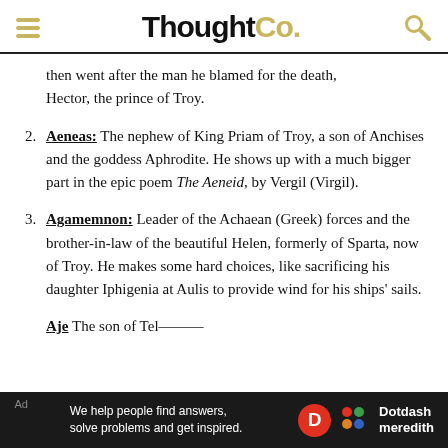ThoughtCo.
then went after the man he blamed for the death, Hector, the prince of Troy.
Aeneas: The nephew of King Priam of Troy, a son of Anchises and the goddess Aphrodite. He shows up with a much bigger part in the epic poem The Aeneid, by Vergil (Virgil).
Agamemnon: Leader of the Achaean (Greek) forces and the brother-in-law of the beautiful Helen, formerly of Sparta, now of Troy. He makes some hard choices, like sacrificing his daughter Iphigenia at Aulis to provide wind for his ships' sails.
We help people find answers, solve problems and get inspired. Dotdash meredith